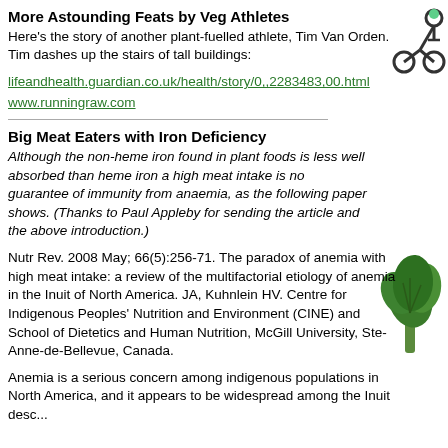More Astounding Feats by Veg Athletes
Here's the story of another plant-fuelled athlete, Tim Van Orden. Tim dashes up the stairs of tall buildings:
lifeandhealth.guardian.co.uk/health/story/0,,2283483,00.html
www.runningraw.com
Big Meat Eaters with Iron Deficiency
Although the non-heme iron found in plant foods is less well absorbed than heme iron a high meat intake is no guarantee of immunity from anaemia, as the following paper shows. (Thanks to Paul Appleby for sending the article and the above introduction.)
Nutr Rev. 2008 May; 66(5):256-71. The paradox of anemia with high meat intake: a review of the multifactorial etiology of anemia in the Inuit of North America. JA, Kuhnlein HV. Centre for Indigenous Peoples' Nutrition and Environment (CINE) and School of Dietetics and Human Nutrition, McGill University, Ste-Anne-de-Bellevue, Canada.
Anemia is a serious concern among indigenous populations in North America, and it appears to be widespread among the Inuit desc...